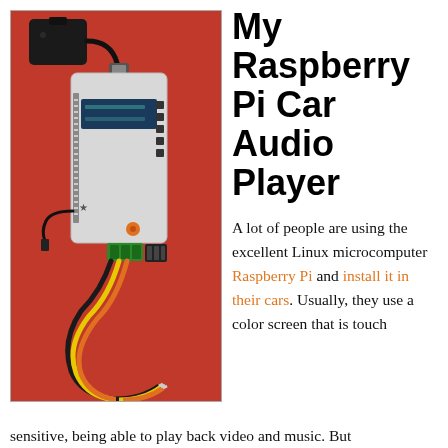[Figure (photo): Photo of a Raspberry Pi microcomputer with an LCD display shield, USB device attached on top, small black wireless module connected via cable on upper left, and yellow/orange/black wires looped below, all on a red background.]
My Raspberry Pi Car Audio Player
A lot of people are using the excellent Linux microcomputer Raspberry Pi and install it in their cars. Usually, they use a color screen that is touch sensitive, being able to play back video and music. But